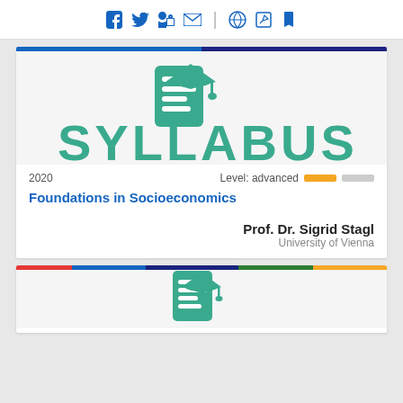Social media icons and navigation bar
[Figure (illustration): Syllabus logo with graduation cap and document icon above the word SYLLABUS in teal]
2020
Level: advanced
Foundations in Socioeconomics
Prof. Dr. Sigrid Stagl
University of Vienna
[Figure (illustration): Partial second syllabus card with graduation cap and document icon, same teal style]